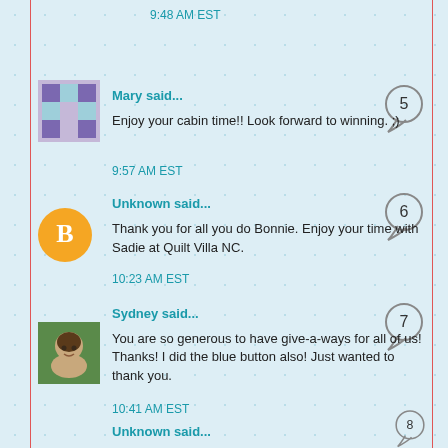9:48 AM EST
Mary said...
[Figure (photo): User avatar showing a quilt pattern in purple and blue]
Enjoy your cabin time!! Look forward to winning. ;)
9:57 AM EST
Unknown said...
[Figure (logo): Orange Blogger icon circle with B]
Thank you for all you do Bonnie. Enjoy your time with Sadie at Quilt Villa NC.
10:23 AM EST
Sydney said...
[Figure (photo): User avatar showing a young child smiling]
You are so generous to have give-a-ways for all of us! Thanks! I did the blue button also! Just wanted to thank you.
10:41 AM EST
Unknown said...